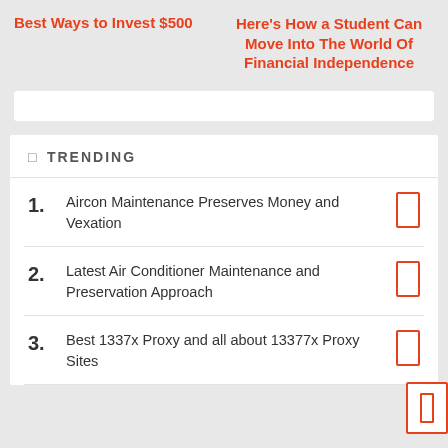Best Ways to Invest $500
Here's How a Student Can Move Into The World Of Financial Independence
TRENDING
1. Aircon Maintenance Preserves Money and Vexation
2. Latest Air Conditioner Maintenance and Preservation Approach
3. Best 1337x Proxy and all about 13377x Proxy Sites